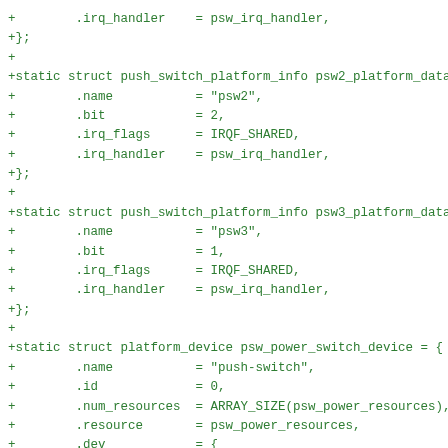+        .irq_handler    = psw_irq_handler,
+};
+
+static struct push_switch_platform_info psw2_platform_data =
+        .name           = "psw2",
+        .bit            = 2,
+        .irq_flags      = IRQF_SHARED,
+        .irq_handler    = psw_irq_handler,
+};
+
+static struct push_switch_platform_info psw3_platform_data =
+        .name           = "psw3",
+        .bit            = 1,
+        .irq_flags      = IRQF_SHARED,
+        .irq_handler    = psw_irq_handler,
+};
+
+static struct platform_device psw_power_switch_device = {
+        .name           = "push-switch",
+        .id             = 0,
+        .num_resources  = ARRAY_SIZE(psw_power_resources),
+        .resource       = psw_power_resources,
+        .dev            = {
+                .platform_data = &psw_power_platform_data,
+        },